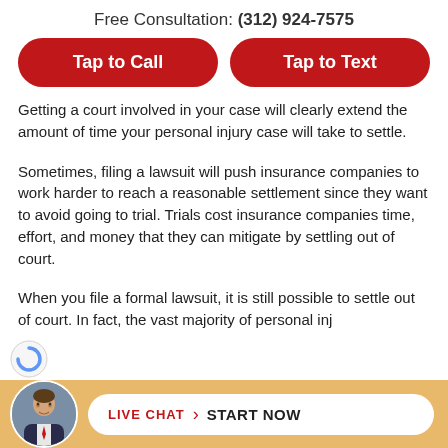Free Consultation: (312) 924-7575
[Figure (other): Two red pill-shaped buttons: 'Tap to Call' and 'Tap to Text']
Getting a court involved in your case will clearly extend the amount of time your personal injury case will take to settle.
Sometimes, filing a lawsuit will push insurance companies to work harder to reach a reasonable settlement since they want to avoid going to trial. Trials cost insurance companies time, effort, and money that they can mitigate by settling out of court.
When you file a formal lawsuit, it is still possible to settle out of court. In fact, the vast majority of personal injury cases are...the
[Figure (infographic): Bottom bar with avatar photo of a man, and a white pill-shaped button with 'LIVE CHAT > START NOW' on an orange/gold background]